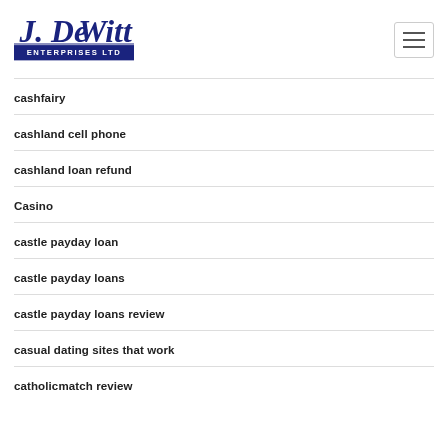J. DeWitt Enterprises Ltd
cashfairy
cashland cell phone
cashland loan refund
Casino
castle payday loan
castle payday loans
castle payday loans review
casual dating sites that work
catholicmatch review